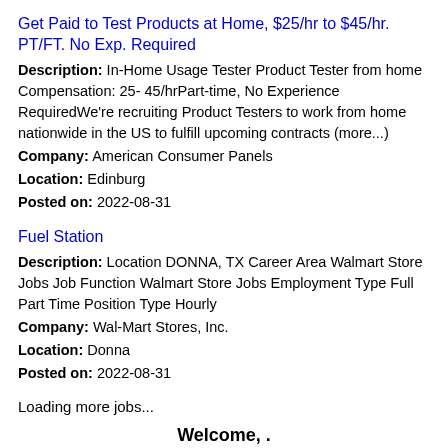Get Paid to Test Products at Home, $25/hr to $45/hr. PT/FT. No Exp. Required
Description: In-Home Usage Tester Product Tester from home Compensation: 25- 45/hrPart-time, No Experience RequiredWe're recruiting Product Testers to work from home nationwide in the US to fulfill upcoming contracts (more...)
Company: American Consumer Panels
Location: Edinburg
Posted on: 2022-08-31
Fuel Station
Description: Location DONNA, TX Career Area Walmart Store Jobs Job Function Walmart Store Jobs Employment Type Full Part Time Position Type Hourly
Company: Wal-Mart Stores, Inc.
Location: Donna
Posted on: 2022-08-31
Loading more jobs...
Welcome, .
My account
Logout